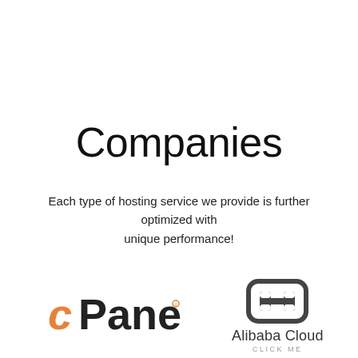Companies
Each type of hosting service we provide is further optimized with unique performance!
[Figure (logo): cPanel logo in orange color]
[Figure (logo): Alibaba Cloud logo with icon and text, CLICK ME below]